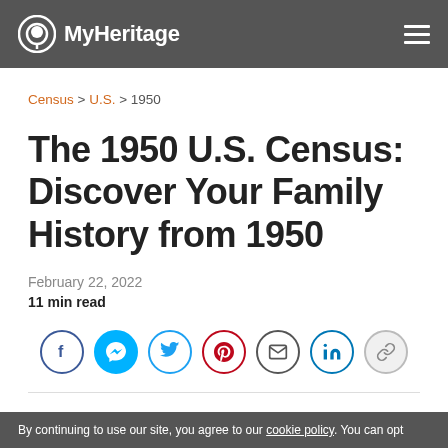[Figure (logo): MyHeritage logo with tree icon in white on dark grey navbar, hamburger menu on right]
Census > U.S. > 1950
The 1950 U.S. Census: Discover Your Family History from 1950
February 22, 2022
11 min read
[Figure (infographic): Row of social sharing icons: Facebook, Messenger, Twitter, Pinterest, Email, LinkedIn, Link]
By continuing to use our site, you agree to our cookie policy. You can opt